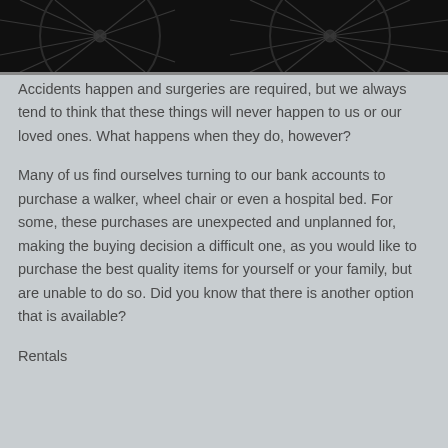[Figure (photo): Black and white close-up photograph of bicycle wheels showing spokes]
Accidents happen and surgeries are required, but we always tend to think that these things will never happen to us or our loved ones. What happens when they do, however?
Many of us find ourselves turning to our bank accounts to purchase a walker, wheel chair or even a hospital bed. For some, these purchases are unexpected and unplanned for, making the buying decision a difficult one, as you would like to purchase the best quality items for yourself or your family, but are unable to do so. Did you know that there is another option that is available?
Rentals